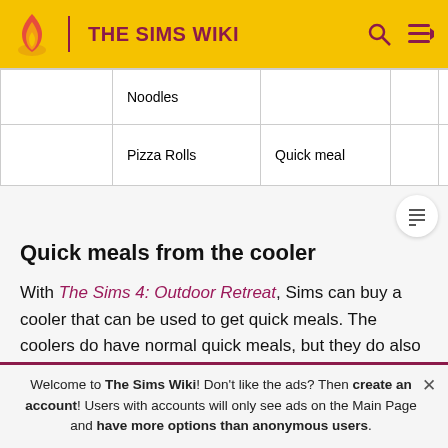THE SIMS WIKI
|  | Noodles |  |  |  |
| --- | --- | --- | --- | --- |
|  | Noodles |  |  |  |
|  | Pizza Rolls | Quick meal |  |  |
Quick meals from the cooler
With The Sims 4: Outdoor Retreat, Sims can buy a cooler that can be used to get quick meals. The coolers do have normal quick meals, but they do also have some special ones as well.
Welcome to The Sims Wiki! Don't like the ads? Then create an account! Users with accounts will only see ads on the Main Page and have more options than anonymous users.